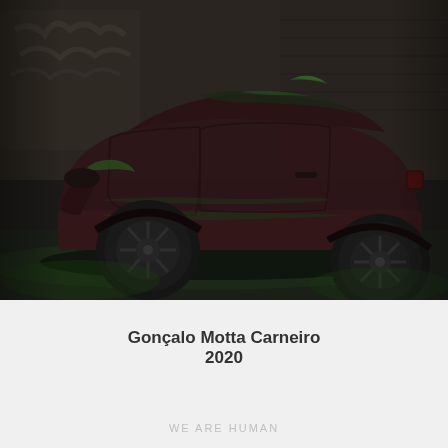[Figure (photo): Night photograph of a dark reddish-maroon compact car parked in a dimly lit urban setting with green ambient lighting reflecting off the car body and wheel arches. Graffiti visible on a wall in the background.]
Gonçalo Motta Carneiro
2020
WE ARE HUMAN